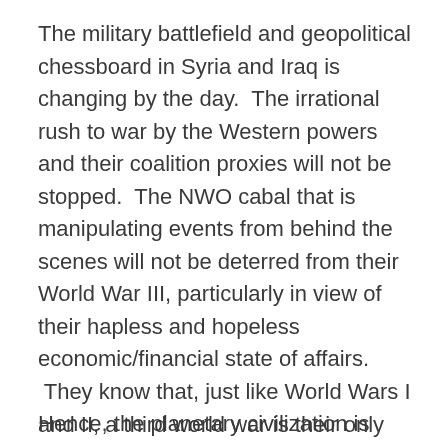The military battlefield and geopolitical chessboard in Syria and Iraq is changing by the day.  The irrational rush to war by the Western powers and their coalition proxies will not be stopped.  The NWO cabal that is manipulating events from behind the scenes will not be deterred from their World War III, particularly in view of their hapless and hopeless economic/financial state of affairs.  They know that, just like World Wars I and II, a third world war is their only way out of their untenable predicament.
Hence, the planetary civilization is quite